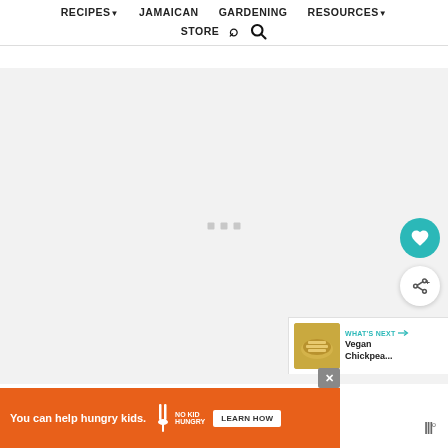RECIPES▼  JAMAICAN  GARDENING  RESOURCES▼  STORE  🔍
[Figure (screenshot): Main content area with light gray background showing loading indicator (three small gray squares) in center, a teal heart/favorite button and white share button on right side, and a 'WHAT'S NEXT →' card showing 'Vegan Chickpea...' with thumbnail]
[Figure (infographic): Orange advertisement banner: 'You can help hungry kids.' with No Kid Hungry fork logo and 'LEARN HOW' button, with close X button]